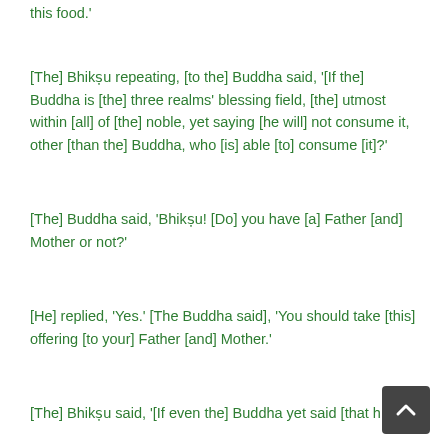this food.'
[The] Bhikṣu repeating, [to the] Buddha said, '[If the] Buddha is [the] three realms' blessing field, [the] utmost within [all] of [the] noble, yet saying [he will] not consume it, other [than the] Buddha, who [is] able [to] consume [it]?'
[The] Buddha said, 'Bhikṣu! [Do] you have [a] Father [and] Mother or not?'
[He] replied, 'Yes.' [The Buddha said], 'You should take [this] offering [to your] Father [and] Mother.'
[The] Bhikṣu said, '[If even the] Buddha yet said [that h…